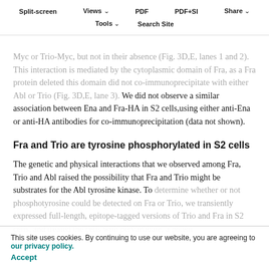Split-screen  Views  PDF  PDF+SI  Share  Tools  Search Site
Myc or Trio-Myc, but not in their absence (Fig. 3D,E, lanes 1 and 2). This interaction is mediated by the cytoplasmic domain of Fra, as a Fra protein deleted this domain did not co-immunoprecipitate with either Abl or Trio (Fig. 3D,E, lane 3). We did not observe a similar association between Ena and Fra-HA in S2 cells,using either anti-Ena or anti-HA antibodies for co-immunoprecitation (data not shown).
Fra and Trio are tyrosine phosphorylated in S2 cells
The genetic and physical interactions that we observed among Fra, Trio and Abl raised the possibility that Fra and Trio might be substrates for the Abl tyrosine kinase. To determine whether or not phosphotyrosine could be detected on Fra or Trio, we transiently expressed full-length, epitope-tagged versions of Trio and Fra in S2 cells, and treated the cells with pervanadate, a potent
This site uses cookies. By continuing to use our website, you are agreeing to our privacy policy. Accept